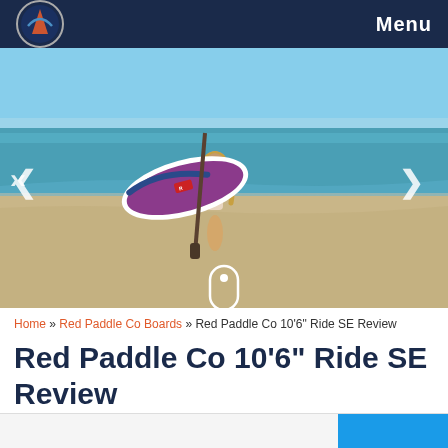Menu
[Figure (photo): Woman carrying a Red Paddle Co inflatable SUP board on a sandy beach with turquoise ocean in the background. Navigation arrows on left and right sides, scroll indicator at bottom center.]
Home » Red Paddle Co Boards » Red Paddle Co 10'6" Ride SE Review
Red Paddle Co 10'6" Ride SE Review